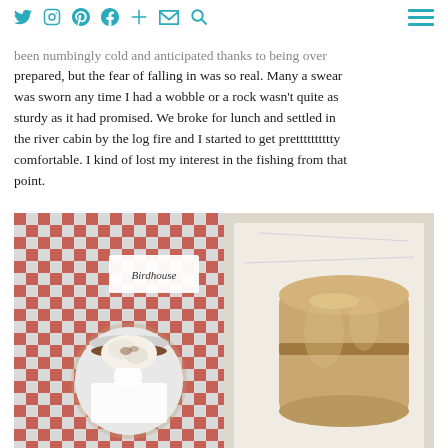social icons: Twitter, Instagram, Pinterest, Facebook, Plus, Email, Search | hamburger menu
been numbingly cold and anticipated thanks to being over prepared, but the fear of falling in was so real. Many a swear was sworn any time I had a wobble or a rock wasn't quite as sturdy as it had promised. We broke for lunch and settled in the river cabin by the log fire and I started to get pretttttttttty comfortable. I kind of lost my interest in the fishing from that point.
[Figure (photo): Overhead view of a red and white checkered tablecloth with a white cup of hot chocolate topped with cream and cinnamon, a Birdhouse branded card, and a bread roll wrapped in white paper on the right side.]